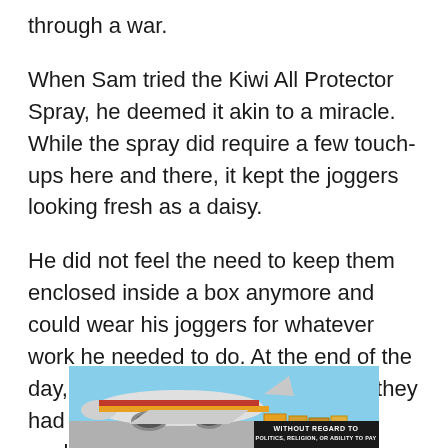through a war.
When Sam tried the Kiwi All Protector Spray, he deemed it akin to a miracle. While the spray did require a few touch-ups here and there, it kept the joggers looking fresh as a daisy.
He did not feel the need to keep them enclosed inside a box anymore and could wear his joggers for whatever work he needed to do. At the end of the day, the joggers would still look like they had never been taken out of their packaging.
[Figure (photo): Advertisement showing cargo being loaded onto a commercial aircraft with a dark overlay banner reading 'WITHOUT REGARD TO POLITICS, RELIGION, OR ABILITY TO PAY']